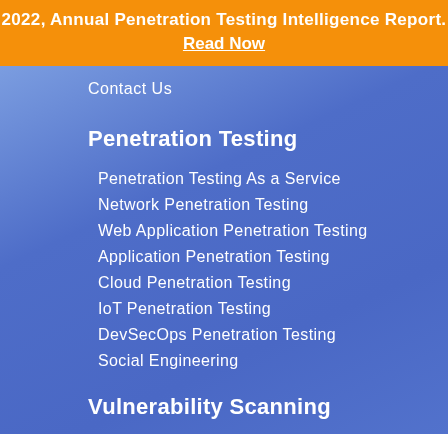2022, Annual Penetration Testing Intelligence Report. Read Now
Contact Us
Penetration Testing
Penetration Testing As a Service
Network Penetration Testing
Web Application Penetration Testing
Application Penetration Testing
Cloud Penetration Testing
IoT Penetration Testing
DevSecOps Penetration Testing
Social Engineering
Vulnerability Scanning